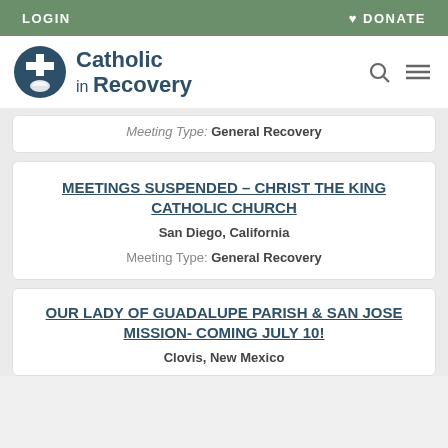LOGIN    ♥ DONATE
[Figure (logo): Catholic in Recovery logo with cross and dove icon]
Meeting Type: General Recovery
MEETINGS SUSPENDED – CHRIST THE KING CATHOLIC CHURCH
San Diego, California
Meeting Type: General Recovery
OUR LADY OF GUADALUPE PARISH & SAN JOSE MISSION- COMING JULY 10!
Clovis, New Mexico